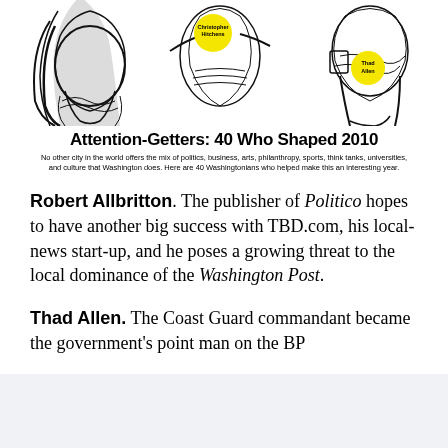[Figure (illustration): Black and white illustration with yellow badge labels for Christopher Hitchens and Thad Allen, part of 'Attention-Getters: 40 Who Shaped 2010' feature]
Attention-Getters: 40 Who Shaped 2010
No other city in the world offers the mix of politics, business, arts, philanthropy, sports, think tanks, universities, and culture that Washington does. Here are 40 Washingtonians who helped make this an interesting year.
Robert Allbritton. The publisher of Politico hopes to have another big success with TBD.com, his local-news start-up, and he poses a growing threat to the local dominance of the Washington Post.
Thad Allen. The Coast Guard commandant became the government's point man on the BP Deepwater Horizon oil spill disaster, and the...